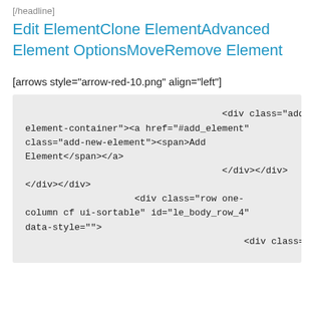[/headline]
Edit ElementClone ElementAdvanced Element OptionsMoveRemove Element
[arrows style="arrow-red-10.png" align="left"]
<div class="add-element-container"><a href="#add_element" class="add-new-element"><span>Add Element</span></a>
                                    </div></div>
</div></div>
                    <div class="row one-column cf ui-sortable" id="le_body_row_4" data-style="">
                                        <div class="fixed-